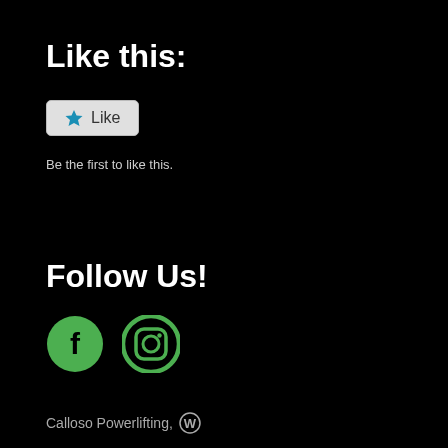Like this:
[Figure (other): Like button widget with star icon and 'Like' text on a light grey button background]
Be the first to like this.
Follow Us!
[Figure (other): Social media icons: Facebook (green circle with f) and Instagram (green rounded square with camera icon)]
Calloso Powerlifting, WordPress logo